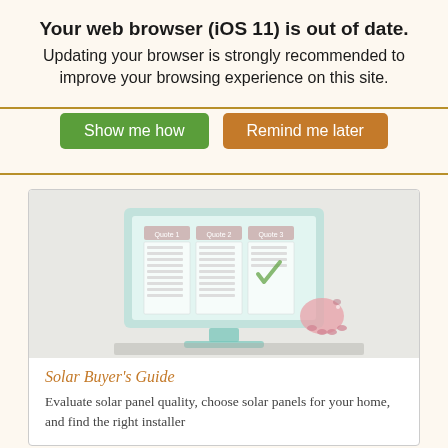Your web browser (iOS 11) is out of date. Updating your browser is strongly recommended to improve your browsing experience on this site.
[Figure (screenshot): Two buttons: 'Show me how' in green and 'Remind me later' in orange/brown]
[Figure (illustration): Illustration of a desktop computer monitor showing three comparison columns (Quote 1, Quote 2, Quote 3) with a pink piggy bank beside it, on a gray desk surface]
Solar Buyer's Guide
Evaluate solar panel quality, choose solar panels for your home, and find the right installer